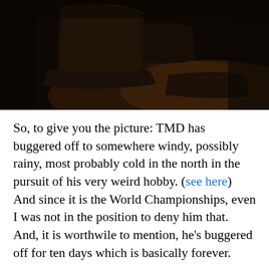[Figure (photo): Dark photograph of a leather recliner chair in a dimly lit room with warm brown tones, mostly in shadow]
So, to give you the picture: TMD has buggered off to somewhere windy, possibly rainy, most probably cold in the north in the pursuit of his very weird hobby. (see here) And since it is the World Championships, even I was not in the position to deny him that. And, it is worthwile to mention, he's buggered off for ten days which is basically forever.
So today the Mimis were exceptionally in the nursery and when I went to pick Mimi #1 up, she ran towards me (great, cute!) and fell flat on her face (sh..). And this is not figuratively, I mean this literally, on her face. Luckily, no